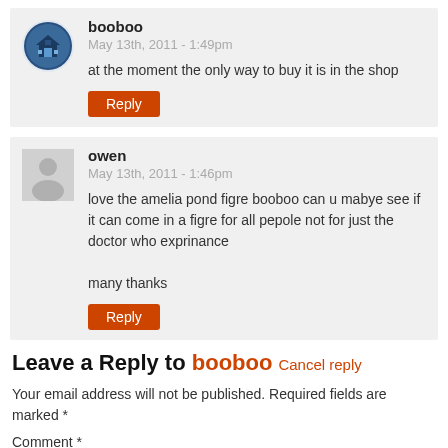[Figure (other): Avatar icon for user booboo – circular badge with a building/house icon]
booboo
May 13th, 2011 - 1:49pm
at the moment the only way to buy it is in the shop
Reply
[Figure (other): Generic grey avatar placeholder for user owen]
owen
May 13th, 2011 - 1:46pm
love the amelia pond figre booboo can u mabye see if it can come in a figre for all pepole not for just the doctor who exprinance

many thanks
Reply
Leave a Reply to booboo Cancel reply
Your email address will not be published. Required fields are marked *
Comment *